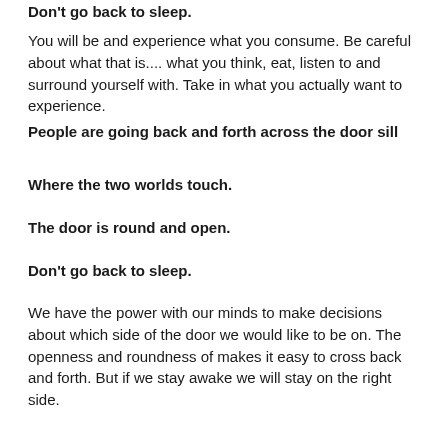Don't go back to sleep.
You will be and experience what you consume. Be careful about what that is.... what you think, eat, listen to and surround yourself with. Take in what you actually want to experience.
People are going back and forth across the door sill
Where the two worlds touch.
The door is round and open.
Don't go back to sleep.
We have the power with our minds to make decisions about which side of the door we would like to be on. The openness and roundness of makes it easy to cross back and forth. But if we stay awake we will stay on the right side.